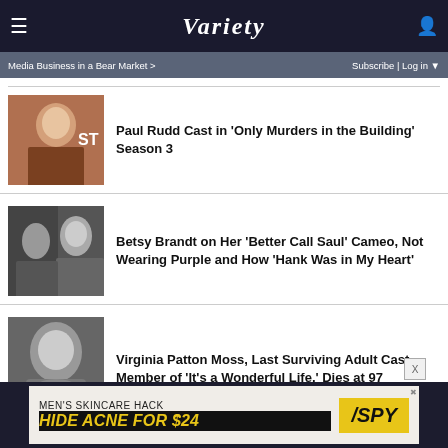Variety
Media Business in a Bear Market > | Subscribe | Log in
Paul Rudd Cast in ‘Only Murders in the Building’ Season 3
Betsy Brandt on Her ‘Better Call Saul’ Cameo, Not Wearing Purple and How ‘Hank Was in My Heart’
Virginia Patton Moss, Last Surviving Adult Cast Member of ‘It’s a Wonderful Life,’ Dies at 97
[Figure (infographic): Advertisement banner: MEN’S SKINCARE HACK / HIDE ACNE FOR $24 with SPY logo]